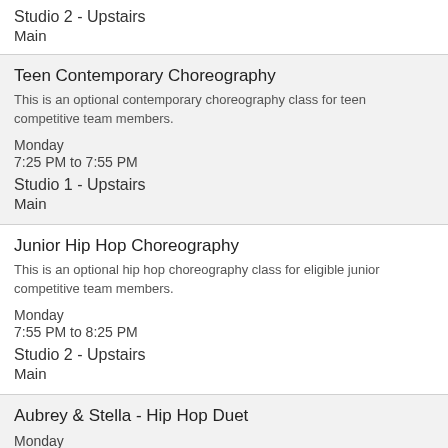Studio 2 - Upstairs
Main
Teen Contemporary Choreography
This is an optional contemporary choreography class for teen competitive team members.
Monday
7:25 PM to 7:55 PM
Studio 1 - Upstairs
Main
Junior Hip Hop Choreography
This is an optional hip hop choreography class for eligible junior competitive team members.
Monday
7:55 PM to 8:25 PM
Studio 2 - Upstairs
Main
Aubrey & Stella - Hip Hop Duet
Monday
8:25 PM to 8:40 PM